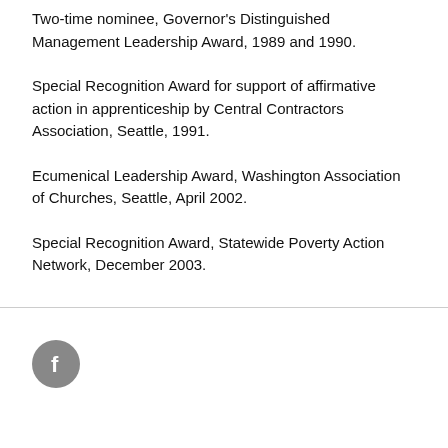Two-time nominee, Governor's Distinguished Management Leadership Award, 1989 and 1990.
Special Recognition Award for support of affirmative action in apprenticeship by Central Contractors Association, Seattle, 1991.
Ecumenical Leadership Award, Washington Association of Churches, Seattle, April 2002.
Special Recognition Award, Statewide Poverty Action Network, December 2003.
[Figure (logo): Facebook social media icon — a grey circular button with a white lowercase 'f' lettermark]